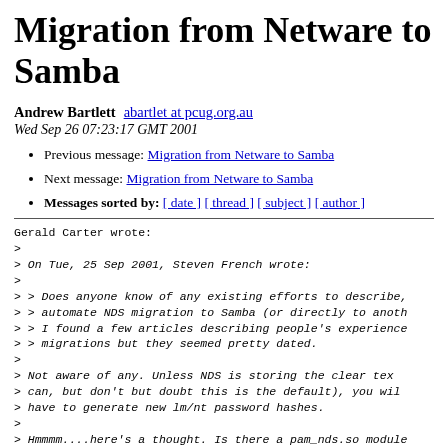Migration from Netware to Samba
Andrew Bartlett abartlet at pcug.org.au
Wed Sep 26 07:23:17 GMT 2001
Previous message: Migration from Netware to Samba
Next message: Migration from Netware to Samba
Messages sorted by: [ date ] [ thread ] [ subject ] [ author ]
Gerald Carter wrote:
>
> On Tue, 25 Sep 2001, Steven French wrote:
>
> > Does anyone know of any existing efforts to describe,
> > automate NDS migration to Samba (or directly to anoth
> > I found a few articles describing people's experience
> > migrations but they seemed pretty dated.
>
> Not aware of any.  Unless NDS is storing the clear tex
> can, but don't but doubt this is the default), you wil
> have to generate new lm/nt password hashes.
>
> Hmmmm....here's a thought. Is there a pam_nds.so module